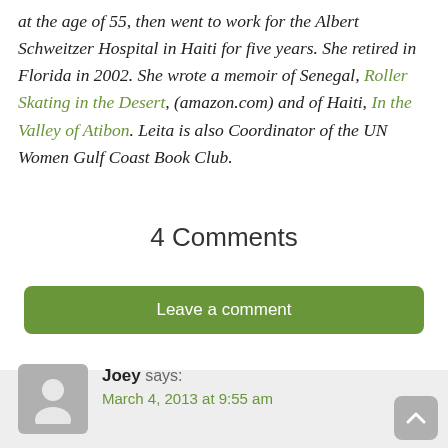at the age of 55, then went to work for the Albert Schweitzer Hospital in Haiti for five years. She retired in Florida in 2002. She wrote a memoir of Senegal, Roller Skating in the Desert, (amazon.com) and of Haiti, In the Valley of Atibon. Leita is also Coordinator of the UN Women Gulf Coast Book Club.
4 Comments
[Figure (other): Green rounded button labeled 'Leave a comment']
Joey says: March 4, 2013 at 9:55 am